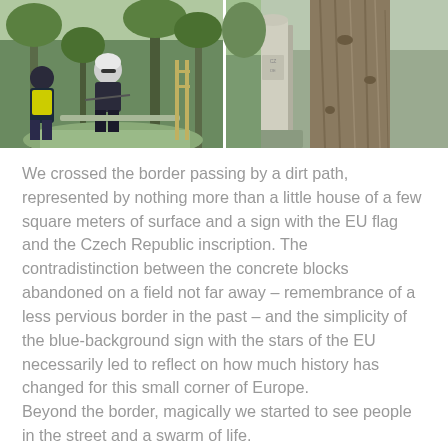[Figure (photo): Two-panel photo strip. Left panel shows cyclists/people outdoors in a green park setting with trees in background. Right panel shows a close-up of a concrete border marker post next to a tree trunk.]
We crossed the border passing by a dirt path, represented by nothing more than a little house of a few square meters of surface and a sign with the EU flag and the Czech Republic inscription. The contradistinction between the concrete blocks abandoned on a field not far away – remembrance of a less pervious border in the past – and the simplicity of the blue-background sign with the stars of the EU necessarily led to reflect on how much history has changed for this small corner of Europe.
Beyond the border, magically we started to see people in the street and a swarm of life.
We faced about ten kilometres with a strong headwind, which had been forgiving so far pushing our pedals. Now, it blew strongly and directly into our faces, forcing us to push with great effort on our pedals. Fortunately, it lasted in a very